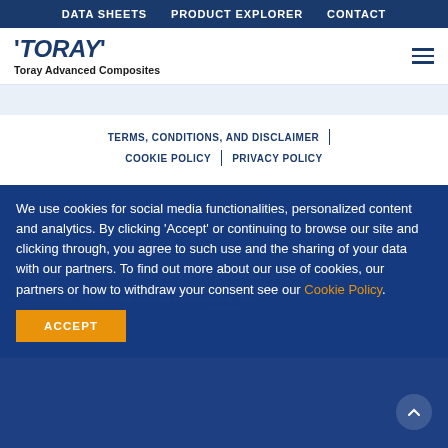DATA SHEETS   PRODUCT EXPLORER   CONTACT
[Figure (logo): Toray Advanced Composites logo with italic TORAY text and tick marks]
TERMS, CONDITIONS, AND DISCLAIMER | COOKIE POLICY | PRIVACY POLICY
We use cookies for social media functionalities, personalized content and analytics. By clicking 'Accept' or continuing to browse our site and clicking through, you agree to such use and the sharing of your data with our partners. To find out more about our use of cookies, our partners or how to withdraw your consent see our Cookie Policy.
ACCEPT